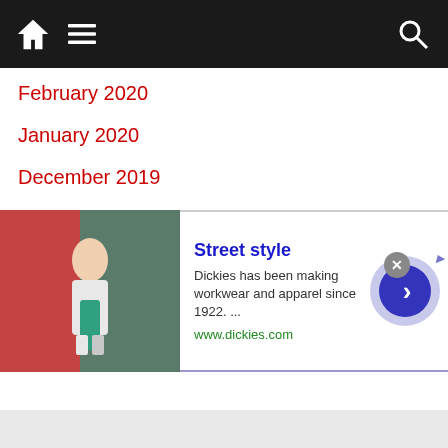[Figure (screenshot): Navigation bar with home icon, hamburger menu, and search icon on dark background with red top strip]
February 2020
January 2020
December 2019
November 2019
October 2019
September 2019
August 2019
July 2019
June 2019
[Figure (screenshot): Advertisement banner for Dickies Street Style showing a woman in street wear, with title 'Street style', description 'Dickies has been making workwear and apparel since 1922. ...', URL 'www.dickies.com', close button, AdChoices icon, and blue arrow button]